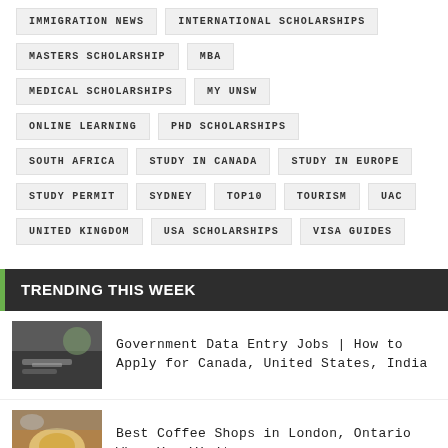IMMIGRATION NEWS
INTERNATIONAL SCHOLARSHIPS
MASTERS SCHOLARSHIP
MBA
MEDICAL SCHOLARSHIPS
MY UNSW
ONLINE LEARNING
PHD SCHOLARSHIPS
SOUTH AFRICA
STUDY IN CANADA
STUDY IN EUROPE
STUDY PERMIT
SYDNEY
TOP10
TOURISM
UAC
UNITED KINGDOM
USA SCHOLARSHIPS
VISA GUIDES
TRENDING THIS WEEK
Government Data Entry Jobs | How to Apply for Canada, United States, India
Best Coffee Shops in London, Ontario When You Visit